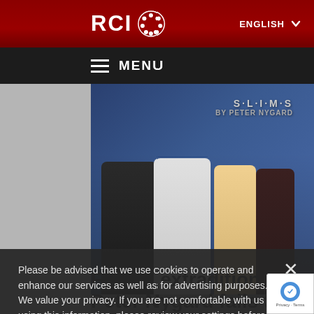RCI (Radio Canada International) - ENGLISH
[Figure (screenshot): Navigation menu bar with hamburger icon and MENU text on dark background]
[Figure (photo): People shaking hands at a SLIMS by Peter Nygard event or store, with promotional signage in background]
Please be advised that we use cookies to operate and enhance our services as well as for advertising purposes. We value your privacy. If you are not comfortable with us using this information, please review your settings before continuing your visit.
Manage your navigation settings
...eadingley Correctional Centre, west of the Manitoba capital. (THE CANADIAN PRESS/Scott Canada)
Find out more
Facing extradition, Peter Nygard fails to